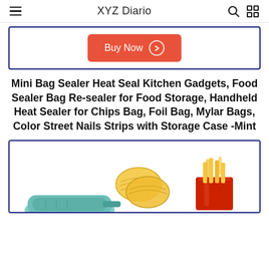XYZ Diario
[Figure (screenshot): Buy Now button with orange-red background and circle arrow icon inside a navy-bordered card]
Mini Bag Sealer Heat Seal Kitchen Gadgets, Food Sealer Bag Re-sealer for Food Storage, Handheld Heat Sealer for Chips Bag, Foil Bag, Mylar Bags, Color Street Nails Strips with Storage Case -Mint
[Figure (photo): Product photo showing a mint/teal colored mini bag sealer with potato chips and french fries in a red cup, inside a navy-bordered card]